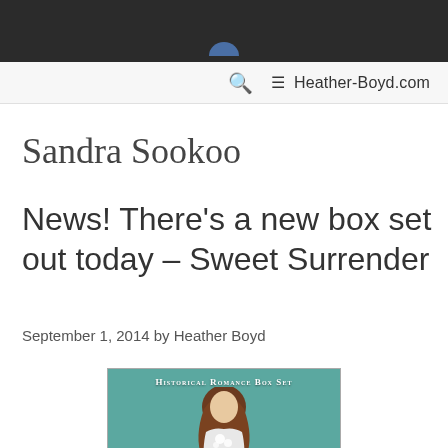Heather-Boyd.com
Sandra Sookoo
News! There’s a new box set out today – Sweet Surrender
September 1, 2014 by Heather Boyd
[Figure (photo): Book cover for 'Sweet Surrender' Historical Romance Box Set, showing a woman in a period dress against a teal background]